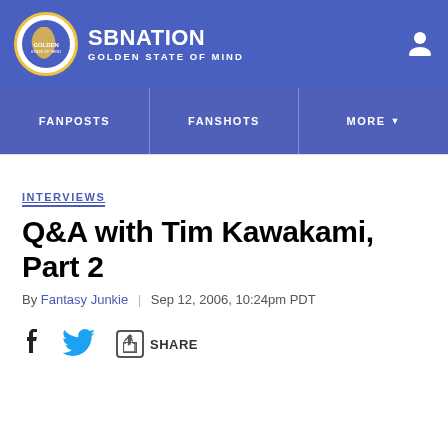SBNATION GOLDEN STATE OF MIND
FANPOSTS | FANSHOTS | MORE
INTERVIEWS
Q&A with Tim Kawakami, Part 2
By Fantasy Junkie | Sep 12, 2006, 10:24pm PDT
SHARE